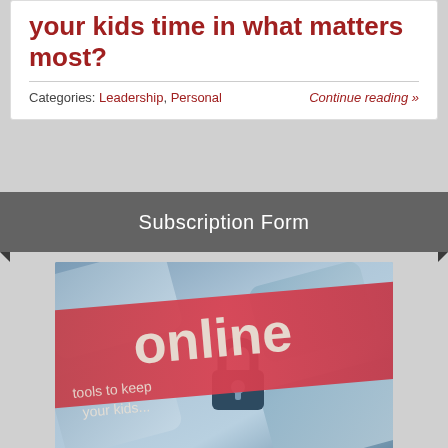your kids time in what matters most?
Categories: Leadership, Personal
Continue reading »
Subscription Form
[Figure (photo): Photo of a keyboard with a lock icon and a red diagonal banner reading 'online' and 'tools to keep your kids']